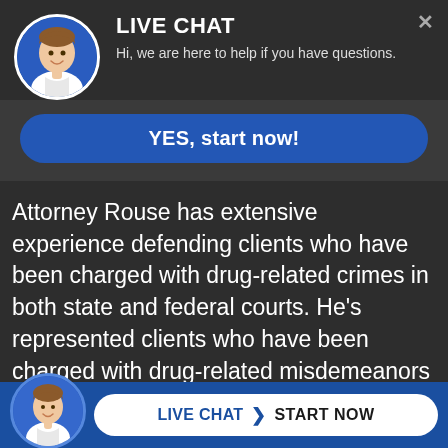LIVE CHAT
Hi, we are here to help if you have questions.
YES, start now!
Attorney Rouse has extensive experience defending clients who have been charged with drug-related crimes in both state and federal courts. He's represented clients who have been charged with drug-related misdemeanors and felonies. Some types of drug-related convictions may carry mandatory prison sentences. It's paramount to retain the services of an attorney
LIVE CHAT  START NOW